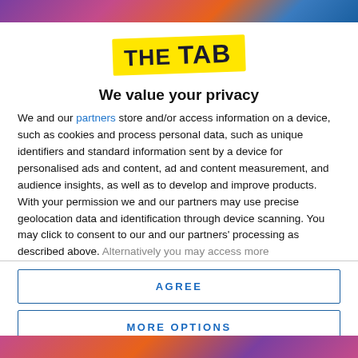[Figure (photo): Colorful background image strip at the top of the page]
[Figure (logo): The Tab logo — bold dark text on a yellow rotated background banner]
We value your privacy
We and our partners store and/or access information on a device, such as cookies and process personal data, such as unique identifiers and standard information sent by a device for personalised ads and content, ad and content measurement, and audience insights, as well as to develop and improve products. With your permission we and our partners may use precise geolocation data and identification through device scanning. You may click to consent to our and our partners' processing as described above. Alternatively you may access more
AGREE
MORE OPTIONS
[Figure (photo): Colorful background image strip at the bottom of the page]